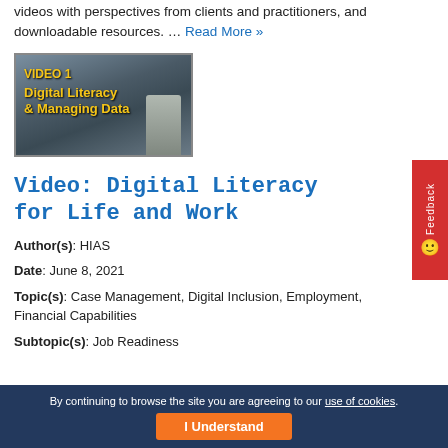videos with perspectives from clients and practitioners, and downloadable resources. … Read More »
[Figure (screenshot): Video thumbnail showing 'VIDEO 1 Digital Literacy & Managing Data' with yellow text on a dark background, with a person sitting in the background]
Video: Digital Literacy for Life and Work
Author(s): HIAS
Date: June 8, 2021
Topic(s): Case Management, Digital Inclusion, Employment, Financial Capabilities
Subtopic(s): Job Readiness
By continuing to browse the site you are agreeing to our use of cookies. I Understand